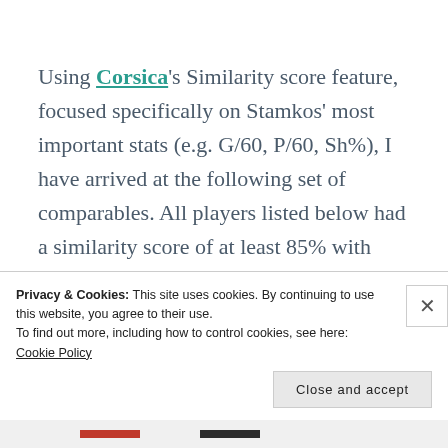Using Corsica's Similarity score feature, focused specifically on Stamkos' most important stats (e.g. G/60, P/60, Sh%), I have arrived at the following set of comparables. All players listed below had a similarity score of at least 85% with Steven. I have also tried to present this similarly to how it is done in
Privacy & Cookies: This site uses cookies. By continuing to use this website, you agree to their use.
To find out more, including how to control cookies, see here: Cookie Policy